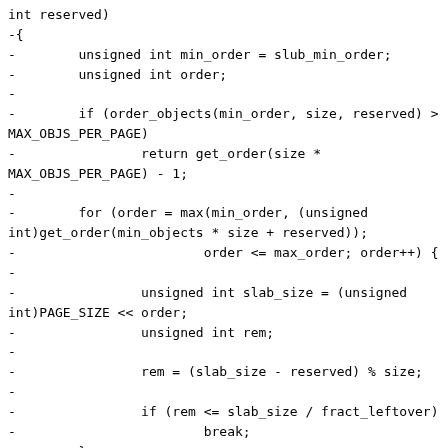int reserved)
-{
-        unsigned int min_order = slub_min_order;
-        unsigned int order;
-
-        if (order_objects(min_order, size, reserved) > MAX_OBJS_PER_PAGE)
-                return get_order(size * MAX_OBJS_PER_PAGE) - 1;
-
-        for (order = max(min_order, (unsigned int)get_order(min_objects * size + reserved));
-                                order <= max_order; order++) {
-
-                unsigned int slab_size = (unsigned int)PAGE_SIZE << order;
-                unsigned int rem;
-
-                rem = (slab_size - reserved) % size;
-
-                if (rem <= slab_size / fract_leftover)
-                        break;
-        }
-
-        return order;
-}
-
 static inline int calculate_order(unsigned int size, unsigned int reserved)
  {
-        unsigned int o